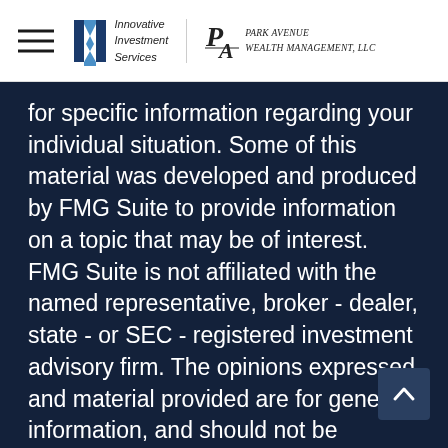Innovative Investment Services | Park Avenue Wealth Management, LLC
for specific information regarding your individual situation. Some of this material was developed and produced by FMG Suite to provide information on a topic that may be of interest. FMG Suite is not affiliated with the named representative, broker - dealer, state - or SEC - registered investment advisory firm. The opinions expressed and material provided are for general information, and should not be considered a solicitation for the purchase or sale of any security.
We take protecting your data and privacy very seriously. As of January 1, 2020 the California Consumer Privacy Act (CCPA) suggests the following link as an extra measure to safeguard